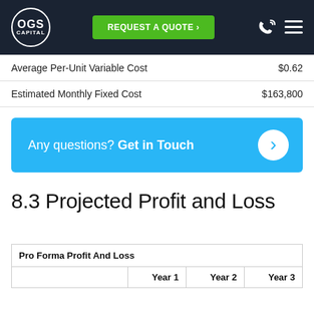OGS Capital | REQUEST A QUOTE
|  |  |
| --- | --- |
| Average Per-Unit Variable Cost | $0.62 |
| Estimated Monthly Fixed Cost | $163,800 |
[Figure (infographic): Blue CTA banner: 'Any questions? Get in Touch' with right arrow button]
8.3 Projected Profit and Loss
| Pro Forma Profit And Loss | Year 1 | Year 2 | Year 3 |
| --- | --- | --- | --- |